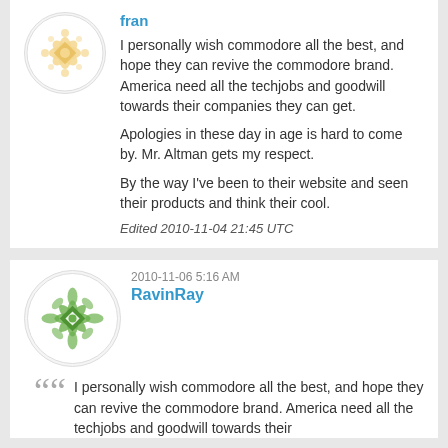[Figure (illustration): Round avatar with golden/beige geometric snowflake pattern on white circle background]
fran
I personally wish commodore all the best, and hope they can revive the commodore brand. America need all the techjobs and goodwill towards their companies they can get.
Apologies in these day in age is hard to come by. Mr. Altman gets my respect.
By the way I've been to their website and seen their products and think their cool.
Edited 2010-11-04 21:45 UTC
2010-11-06 5:16 AM
[Figure (illustration): Round avatar with green geometric diamond/snowflake pattern on white circle background]
RavinRay
I personally wish commodore all the best, and hope they can revive the commodore brand. America need all the techjobs and goodwill towards their